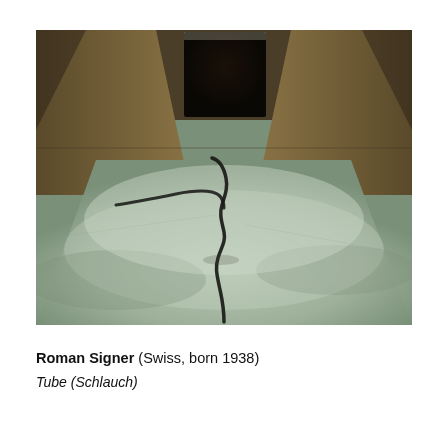[Figure (photo): Photograph showing a room interior viewed from a low angle. A dark hose or tube snakes across a large pale greenish-gray floor surface toward a dark doorway or opening in the background. The walls appear tan/brown. The floor is expansive and the hose curves in an S-shape from the foreground toward the center-background.]
Roman Signer (Swiss, born 1938)
Tube (Schlauch)